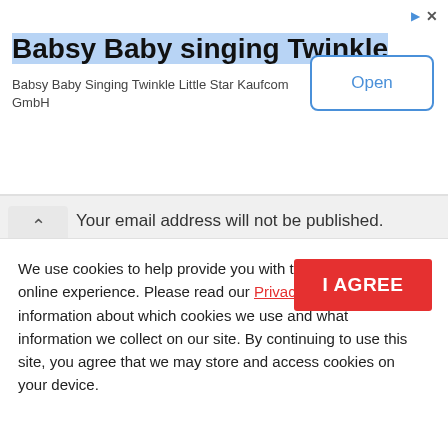[Figure (screenshot): Advertisement banner for 'Babsy Baby singing Twinkle' app by Kaufcom GmbH, with an 'Open' button and close/redirect icons.]
Your email address will not be published. Required fields are marked *
[Figure (screenshot): Comment text input box with placeholder text 'Comment*']
We use cookies to help provide you with the best possible online experience. Please read our Privacy Policy for information about which cookies we use and what information we collect on our site. By continuing to use this site, you agree that we may store and access cookies on your device.